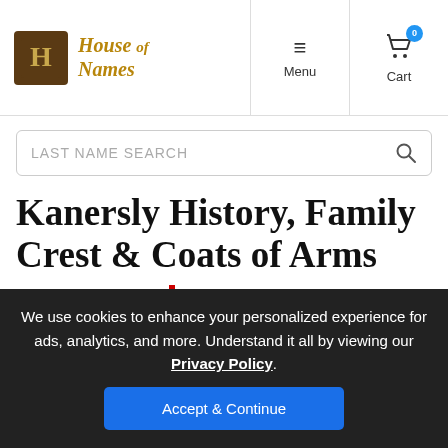House of Names — Menu | Cart (0)
LAST NAME SEARCH
Kanersly History, Family Crest & Coats of Arms
Origins Available: England
We use cookies to enhance your personalized experience for ads, analytics, and more. Understand it all by viewing our Privacy Policy.
Accept & Continue